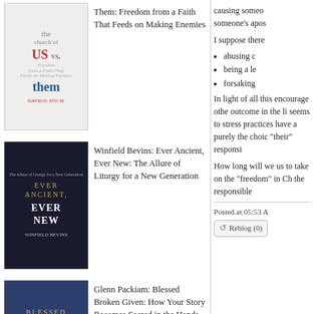[Figure (illustration): Book cover: David E. Fitch - The Church of Us vs. Them: Freedom from a Faith That Feeds on Making Enemies]
Them: Freedom from a Faith That Feeds on Making Enemies
[Figure (illustration): Book cover: Winfield Bevins - Ever Ancient, Ever New: The Allure of Liturgy for a New Generation. Dark gothic cathedral background.]
Winfield Bevins: Ever Ancient, Ever New: The Allure of Liturgy for a New Generation
[Figure (illustration): Book cover: Glenn Packiam - Blessed Broken Given: How Your Story Becomes Sacred in the Hands of Jesus. Dark blue background with bread.]
Glenn Packiam: Blessed Broken Given: How Your Story Becomes Sacred in the Hands of Jesus
causing someone's apos
I suppose there
abusing c
being a le
forsaking
In light of all this encourage othe outcome in the li seems to stress practices have a purely the choic "their" responsi
How long will we us to take on the "freedom" in Ch the responsible
Posted at 05:53 A
Reblog (0)